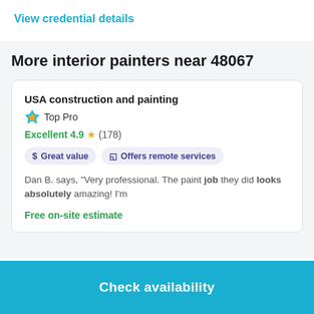View credential details
More interior painters near 48067
USA construction and painting
Top Pro
Excellent 4.9 ★ (178)
$ Great value
☐ Offers remote services
Dan B. says, "Very professional. The paint job they did looks absolutely amazing! I'm
Free on-site estimate
Check availability